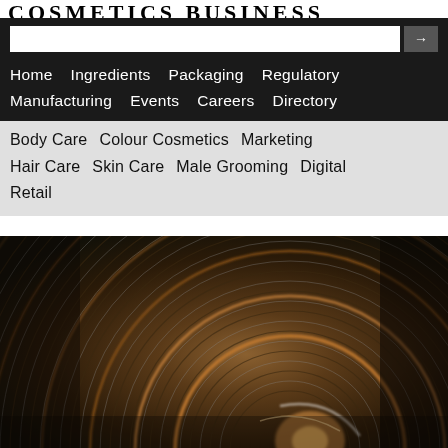COSMETICS BUSINESS
Home   Ingredients   Packaging   Regulatory   Manufacturing   Events   Careers   Directory
Body Care   Colour Cosmetics   Marketing   Hair Care   Skin Care   Male Grooming   Digital   Retail
[Figure (photo): Close-up photo of metallic swirling concentric rings with copper and silver tones, suggesting a polished metal cylinder or cosmetic packaging component viewed from an angle.]